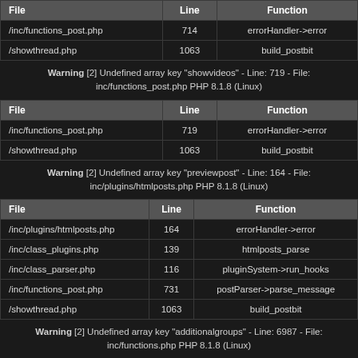| File | Line | Function |
| --- | --- | --- |
| /inc/functions_post.php | 714 | errorHandler->error |
| /showthread.php | 1063 | build_postbit |
Warning [2] Undefined array key "showvideos" - Line: 719 - File: inc/functions_post.php PHP 8.1.8 (Linux)
| File | Line | Function |
| --- | --- | --- |
| /inc/functions_post.php | 719 | errorHandler->error |
| /showthread.php | 1063 | build_postbit |
Warning [2] Undefined array key "previewpost" - Line: 164 - File: inc/plugins/htmlposts.php PHP 8.1.8 (Linux)
| File | Line | Function |
| --- | --- | --- |
| /inc/plugins/htmlposts.php | 164 | errorHandler->error |
| /inc/class_plugins.php | 139 | htmlposts_parse |
| /inc/class_parser.php | 116 | pluginSystem->run_hooks |
| /inc/functions_post.php | 731 | postParser->parse_message |
| /showthread.php | 1063 | build_postbit |
Warning [2] Undefined array key "additionalgroups" - Line: 6987 - File: inc/functions.php PHP 8.1.8 (Linux)